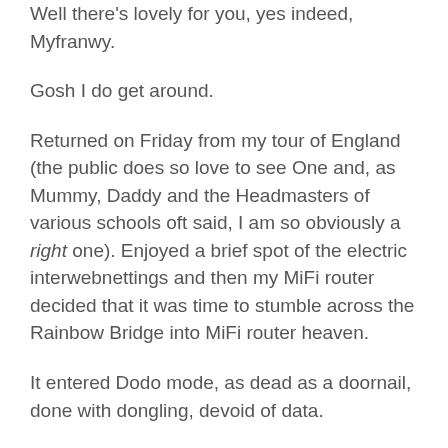Well there's lovely for you, yes indeed, Myfranwy.
Gosh I do get around.
Returned on Friday from my tour of England (the public does so love to see One and, as Mummy, Daddy and the Headmasters of various schools oft said, I am so obviously a right one). Enjoyed a brief spot of the electric interwebnettings and then my MiFi router decided that it was time to stumble across the Rainbow Bridge into MiFi router heaven.
It entered Dodo mode, as dead as a doornail, done with dongling, devoid of data.
I cannot decide whether I thus suddenly became involuntarily internet-less or internet-free.